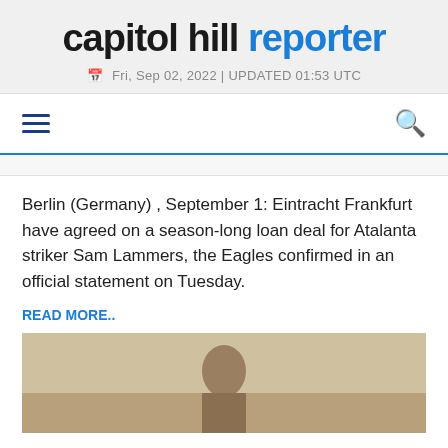capitol hill reporter
Fri, Sep 02, 2022 | UPDATED 01:53 UTC
Berlin (Germany) , September 1: Eintracht Frankfurt have agreed on a season-long loan deal for Atalanta striker Sam Lammers, the Eagles confirmed in an official statement on Tuesday.
READ MORE..
[Figure (photo): Partial photo of a person, appears to be a silhouette or portrait against a light background]